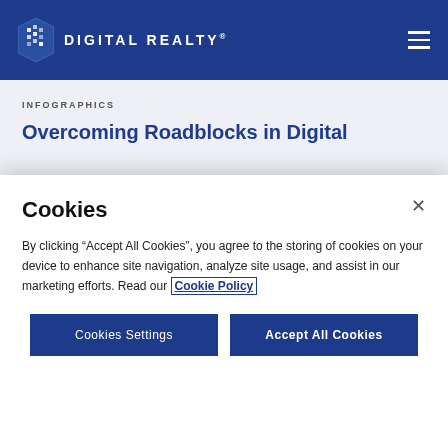[Figure (logo): Digital Realty logo with shield icon and text 'DIGITAL REALTY' in white on blue header background]
INFOGRAPHICS
Overcoming Roadblocks in Digital
Cookies
By clicking “Accept All Cookies”, you agree to the storing of cookies on your device to enhance site navigation, analyze site usage, and assist in our marketing efforts. Read our Cookie Policy
Cookies Settings
Accept All Cookies